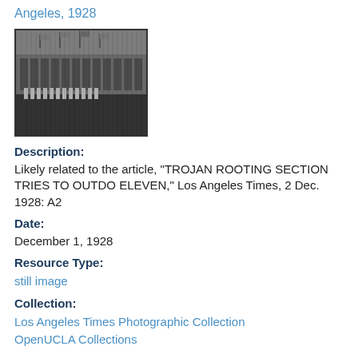Angeles, 1928
[Figure (photo): Black and white photograph showing a marching band or rooting section at a stadium with arched facade, with flags visible, Los Angeles 1928]
Description:
Likely related to the article, "TROJAN ROOTING SECTION TRIES TO OUTDO ELEVEN," Los Angeles Times, 2 Dec. 1928: A2
Date:
December 1, 1928
Resource Type:
still image
Collection:
Los Angeles Times Photographic Collection
OpenUCLA Collections